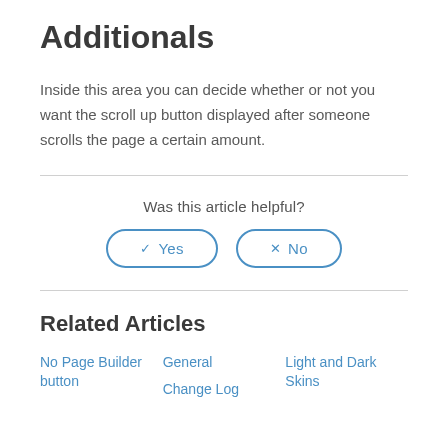Additionals
Inside this area you can decide whether or not you want the scroll up button displayed after someone scrolls the page a certain amount.
Was this article helpful?
✓ Yes | ✗ No
Related Articles
No Page Builder button
General
Light and Dark Skins
Change Log